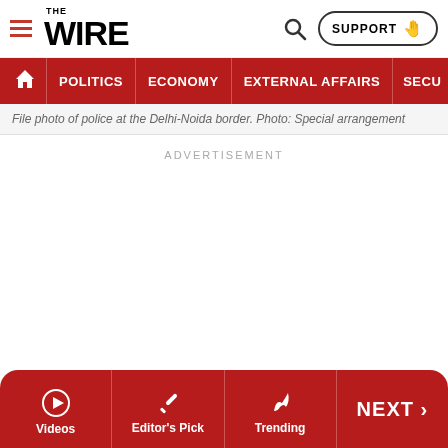THE WIRE
POLITICS  ECONOMY  EXTERNAL AFFAIRS  SECU...
File photo of police at the Delhi-Noida border. Photo: Special arrangement
ADVERTISEMENT
Videos  Editor's Pick  Trending  NEXT >